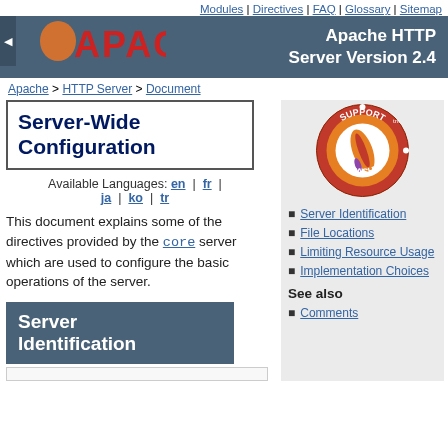Modules | Directives | FAQ | Glossary | Sitemap
Apache HTTP Server Version 2.4
Apache > HTTP Server > Document
Server-Wide Configuration
Available Languages: en | fr | ja | ko | tr
This document explains some of the directives provided by the core server which are used to configure the basic operations of the server.
[Figure (logo): Apache Support logo with feather quill, orange circular badge with 'SUPPORT APACHE' text]
Server Identification
File Locations
Limiting Resource Usage
Implementation Choices
See also
Comments
Server Identification